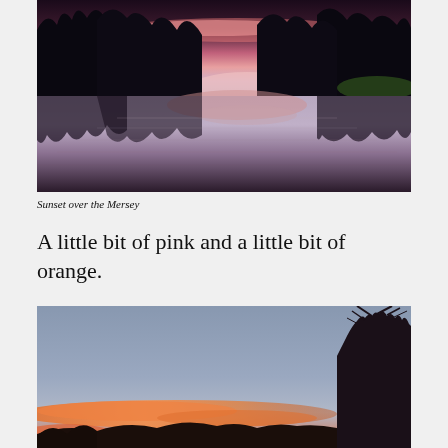[Figure (photo): Sunset over the Mersey river — dark silhouettes of trees reflected in still water, with pink and purple sky above]
Sunset over the Mersey
A little bit of pink and a little bit of orange.
[Figure (photo): Sunset sky with orange and pink clouds near the horizon, bare tree silhouette on the right, grey-blue sky above]